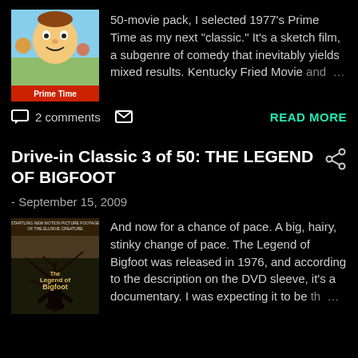[Figure (photo): Movie poster for 'Prime Time' (1977) with cartoon imagery and red title text]
50-movie pack, I selected 1977's Prime Time as my next "classic." It's a sketch film, a subgenre of comedy that inevitably yields mixed results. Kentucky Fried Movie and …
2 comments
READ MORE
Drive-in Classic 3 of 50: THE LEGEND OF BIGFOOT
- September 15, 2009
[Figure (photo): Movie poster for 'The Legend of Bigfoot' showing a dark silhouette of a creature and bare tree]
And now for a chance of pace. A big, hairy, stinky change of pace. The Legend of Bigfoot was released in 1976, and according to the description on the DVD sleeve, it's a documentary. I was expecting it to be th …